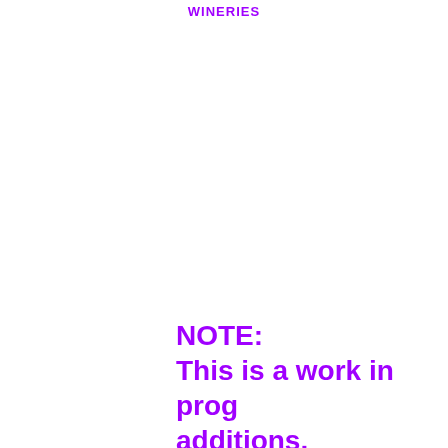WINERIES
NOTE:
This is a work in progress with additions.